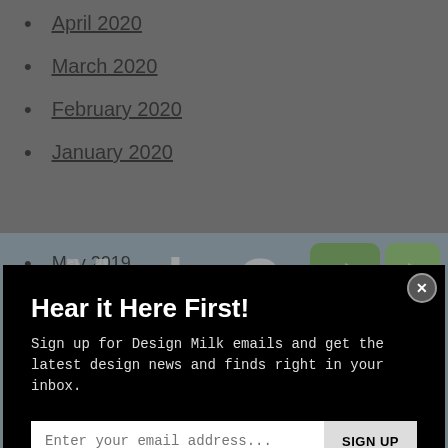April 2020
March 2020
February 2020
January 2020
Hear it Here First!
Sign up for Design Milk emails and get the latest design news and finds right in your inbox.
Enter your email address...
SIGN UP
Not right now.
May 2019
April 2019
March
[Figure (photo): Made Cozy branded image with decorative pillows in the background, shown twice at different scales with overlay text 'Made Cozy']